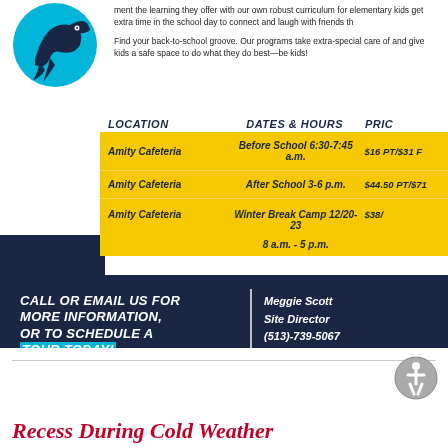[Figure (illustration): Teal circle with decorative bird/wind illustration in dark blue]
ment the learning they offer with our own robust curriculum for elementary kids get extra time in the school day to connect and laugh with friends th
Find your back-to-school groove. Our programs take extra-special care of and give kids a safe space to do what they do best—be kids!
| LOCATION | DATES & HOURS | PRIC |
| --- | --- | --- |
| Amity Cafeteria | Before School 6:30-7:45 a.m. | $16 PT/$31 F |
| Amity Cafeteria | After School 3-6 p.m. | $44.50 PT/$71 |
| Amity Cafeteria | Winter Break Camp 12/20-23
8 a.m. - 5 p.m. | $38/ |
CALL OR EMAIL US FOR MORE INFORMATION, OR TO SCHEDULE A TOUR TODAY!
Meggie Scott
Site Director
(513)-739-5067
CH004631@discoverch com
[Figure (illustration): Accessibility icon - circular grey icon with person figure]
Recess During Cold Weather